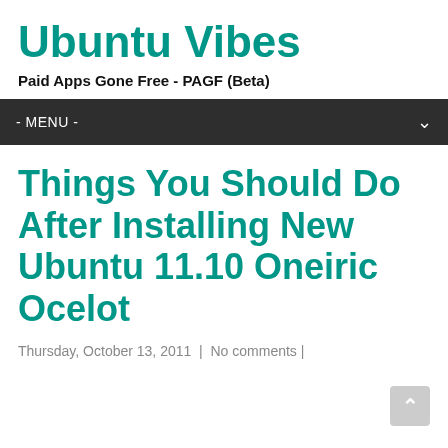Ubuntu Vibes
Paid Apps Gone Free - PAGF (Beta)
- MENU -
Things You Should Do After Installing New Ubuntu 11.10 Oneiric Ocelot
Thursday, October 13, 2011  |  No comments |